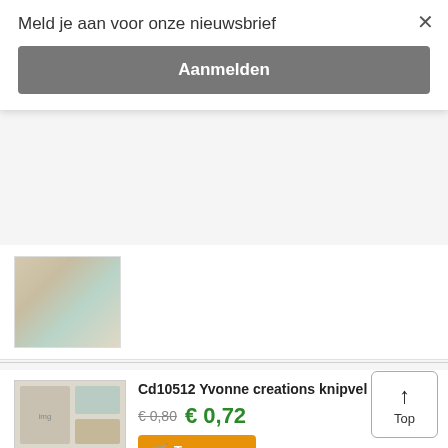Meld je aan voor onze nieuwsbrief
Aanmelden
[Figure (photo): Product image of a craft sheet with illustrated characters]
Toevoegen
[Figure (photo): Product image of Cd10512 Yvonne creations knipvel craft sheet with gnomes and birds]
Cd10512 Yvonne creations knipvel
€ 0,80 € 0,72
Toevoegen
Top